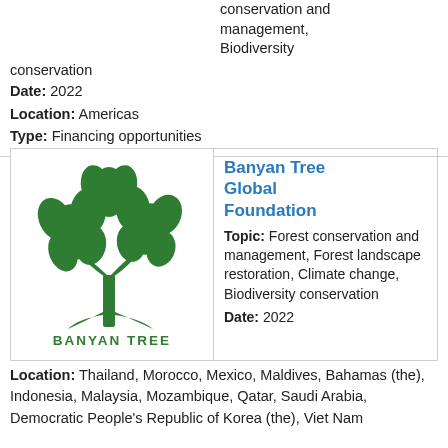conservation and management, Biodiversity conservation
Date: 2022
Location: Americas
Type: Financing opportunities
Banyan Tree Global Foundation
Topic: Forest conservation and management, Forest landscape restoration, Climate change, Biodiversity conservation
Date: 2022
Location: Thailand, Morocco, Mexico, Maldives, Bahamas (the), Indonesia, Malaysia, Mozambique, Qatar, Saudi Arabia, Democratic People's Republic of Korea (the), Viet Nam